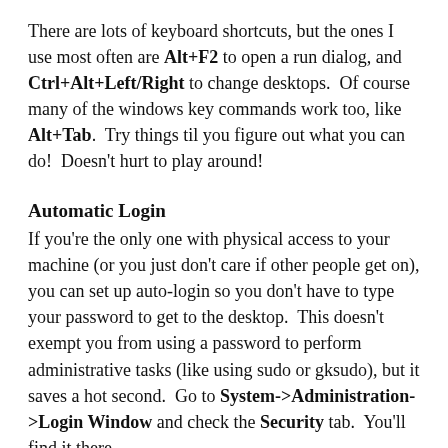There are lots of keyboard shortcuts, but the ones I use most often are Alt+F2 to open a run dialog, and Ctrl+Alt+Left/Right to change desktops. Of course many of the windows key commands work too, like Alt+Tab. Try things til you figure out what you can do! Doesn't hurt to play around!
Automatic Login
If you're the only one with physical access to your machine (or you just don't care if other people get on), you can set up auto-login so you don't have to type your password to get to the desktop. This doesn't exempt you from using a password to perform administrative tasks (like using sudo or gksudo), but it saves a hot second. Go to System->Administration->Login Window and check the Security tab. You'll find it there.
Make AIM links work with GAIM